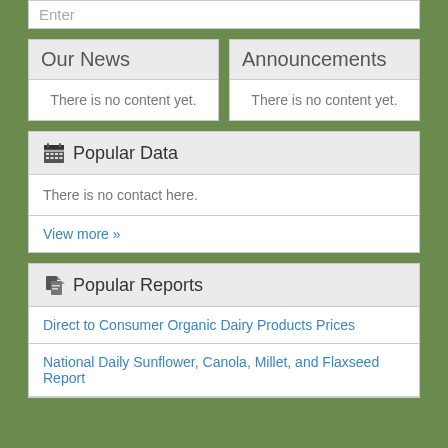Enter
Our News
There is no content yet.
Announcements
There is no content yet.
Popular Data
There is no contact here.
View more »
Popular Reports
Direct to Consumer Organic Dairy Products Prices
National Daily Sunflower, Canola, Millet, and Flaxseed Report